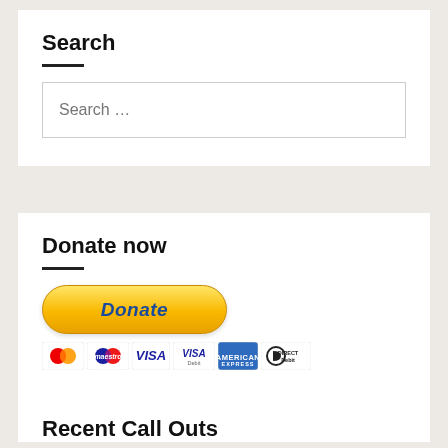Search
[Figure (screenshot): Search input box with placeholder text 'Search …']
Donate now
[Figure (illustration): PayPal Donate button (gold/yellow pill shape) with payment card icons below: Mastercard, Maestro, Visa, Visa Debit, American Express, Direct Debit]
Recent Call Outs